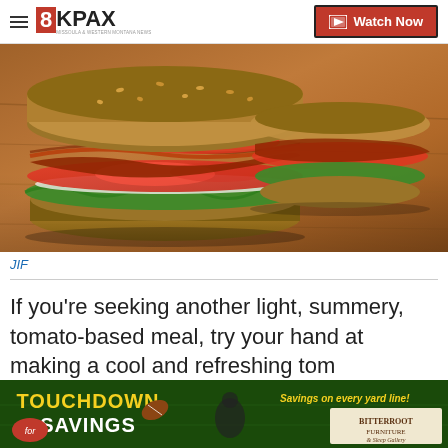8KPAX | Watch Now
[Figure (photo): Close-up photo of a BLT sandwich on whole grain bread with bacon, lettuce, and tomato, placed on a wooden cutting board]
JIF
If you're seeking another light, summery, tomato-based meal, try your hand at making a cool and refreshing tomato cucumber sandwich
[Figure (photo): Advertisement banner: Touchdown Savings for Bitterroot Furniture and Sleep Gallery, featuring a football player]